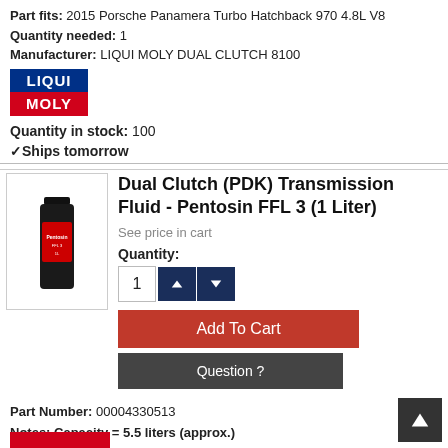Part fits: 2015 Porsche Panamera Turbo Hatchback 970 4.8L V8
Quantity needed: 1
Manufacturer: LIQUI MOLY DUAL CLUTCH 8100
[Figure (logo): LIQUI MOLY logo with blue block for LIQUI and red block for MOLY]
Quantity in stock: 100
✓Ships tomorrow
[Figure (photo): Product photo of a black 1-liter bottle of Pentosin FFL 3 transmission fluid]
Dual Clutch (PDK) Transmission Fluid - Pentosin FFL 3 (1 Liter)
See price in cart
Quantity:
Add To Cart
Question ?
Part Number: 00004330513
Notes: Capacity = 5.5 liters (approx.)
Part fits: 2015 Porsche Panamera Turbo Hatchback 970 4.8L V8
Quantity needed: 1
Manufacturer: MOTUL MULTI DCTF